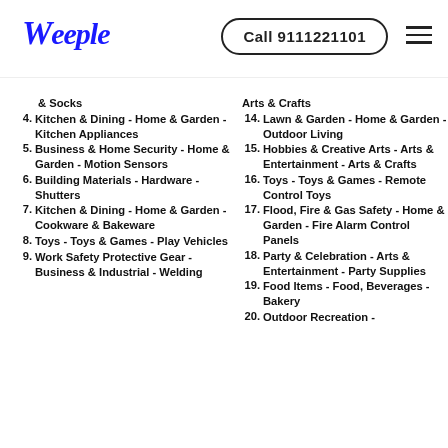Weeple | Call 9111221101
& Socks
4. Kitchen & Dining - Home & Garden - Kitchen Appliances
5. Business & Home Security - Home & Garden - Motion Sensors
6. Building Materials - Hardware - Shutters
7. Kitchen & Dining - Home & Garden - Cookware & Bakeware
8. Toys - Toys & Games - Play Vehicles
9. Work Safety Protective Gear - Business & Industrial - Welding
Arts & Crafts
14. Lawn & Garden - Home & Garden - Outdoor Living
15. Hobbies & Creative Arts - Arts & Entertainment - Arts & Crafts
16. Toys - Toys & Games - Remote Control Toys
17. Flood, Fire & Gas Safety - Home & Garden - Fire Alarm Control Panels
18. Party & Celebration - Arts & Entertainment - Party Supplies
19. Food Items - Food, Beverages - Bakery
20. Outdoor Recreation -